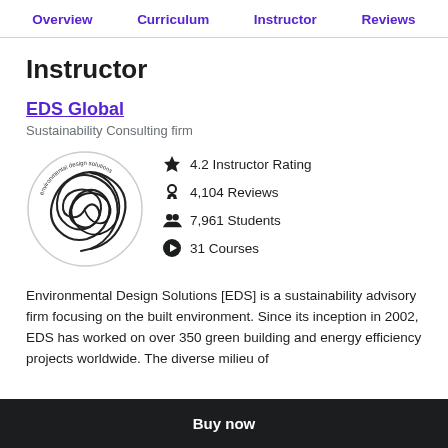Overview   Curriculum   Instructor   Reviews
Instructor
EDS Global
Sustainability Consulting firm
[Figure (logo): EDS Global circular logo with spiral design and text 'environmental design solutions' around the border]
4.2 Instructor Rating
4,104 Reviews
7,961 Students
31 Courses
Environmental Design Solutions [EDS] is a sustainability advisory firm focusing on the built environment. Since its inception in 2002, EDS has worked on over 350 green building and energy efficiency projects worldwide. The diverse milieu of